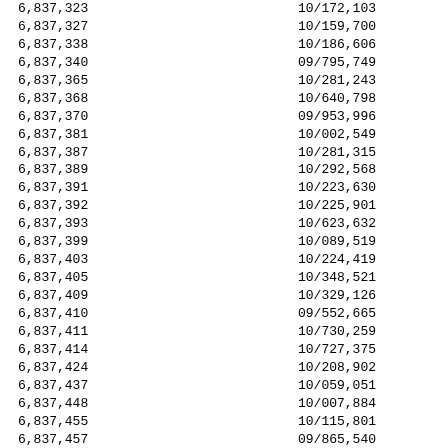| 6,837,323 | 10/172,103 |
| 6,837,327 | 10/159,700 |
| 6,837,338 | 10/186,606 |
| 6,837,340 | 09/795,749 |
| 6,837,365 | 10/281,243 |
| 6,837,368 | 10/640,798 |
| 6,837,370 | 09/953,996 |
| 6,837,381 | 10/002,549 |
| 6,837,387 | 10/281,315 |
| 6,837,389 | 10/292,568 |
| 6,837,391 | 10/223,630 |
| 6,837,392 | 10/225,901 |
| 6,837,393 | 10/623,632 |
| 6,837,399 | 10/089,519 |
| 6,837,403 | 10/224,419 |
| 6,837,405 | 10/348,521 |
| 6,837,409 | 10/329,126 |
| 6,837,410 | 09/552,665 |
| 6,837,411 | 10/730,259 |
| 6,837,414 | 10/727,375 |
| 6,837,424 | 10/208,902 |
| 6,837,437 | 10/059,051 |
| 6,837,448 | 10/007,884 |
| 6,837,455 | 10/115,801 |
| 6,837,457 | 09/865,540 |
| 6,837,459 | 10/239,184 |
| 6,837,461 | 10/638,028 |
| 6,837,463 | 10/203,303 |
| 6,837,470 | 10/431,098 |
| 6,837,481 | 10/383,918 |
| 6,837,482 | 10/248,175 |